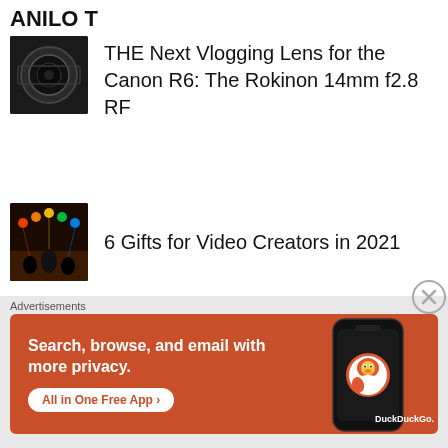ANILO T
THE Next Vlogging Lens for the Canon R6: The Rokinon 14mm f2.8 RF
6 Gifts for Video Creators in 2021
Yeti 200X: The Perfect Power Station to Keep You Charged For the Weekend
Advertisements
[Figure (infographic): DuckDuckGo advertisement banner: Search, browse, and email with more privacy. All in One Free App. Shows a phone with DuckDuckGo logo.]